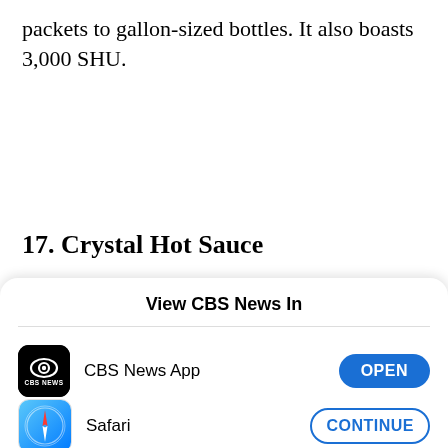packets to gallon-sized bottles. It also boasts 3,000 SHU.
17. Crystal Hot Sauce
[Figure (screenshot): iOS app picker overlay with title 'View CBS News In', showing CBS News App with OPEN button and Safari with CONTINUE button]